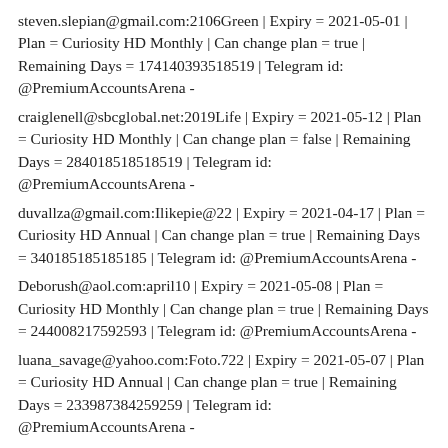steven.slepian@gmail.com:2106Green | Expiry = 2021-05-01 | Plan = Curiosity HD Monthly | Can change plan = true | Remaining Days = 174140393518519 | Telegram id: @PremiumAccountsArena -
craiglenell@sbcglobal.net:2019Life | Expiry = 2021-05-12 | Plan = Curiosity HD Monthly | Can change plan = false | Remaining Days = 284018518518519 | Telegram id: @PremiumAccountsArena -
duvallza@gmail.com:Ilikepie@22 | Expiry = 2021-04-17 | Plan = Curiosity HD Annual | Can change plan = true | Remaining Days = 340185185185185 | Telegram id: @PremiumAccountsArena -
Deborush@aol.com:april10 | Expiry = 2021-05-08 | Plan = Curiosity HD Monthly | Can change plan = true | Remaining Days = 244008217592593 | Telegram id: @PremiumAccountsArena -
luana_savage@yahoo.com:Foto.722 | Expiry = 2021-05-07 | Plan = Curiosity HD Annual | Can change plan = true | Remaining Days = 233987384259259 | Telegram id: @PremiumAccountsArena -
lvogt6900@gmail.com:JakeGus9 | Expiry = 2021-05-04 | Plan = Curiosity HD Monthly | Can change plan = true | Remaining Days = 203982986111111 | Telegram id: @PremiumAccountsArena -
anthonymargulle@gmail.com:margulle1 | Expiry = 2021-05-18 | Plan =